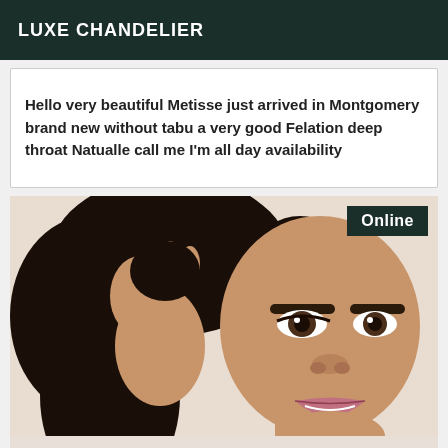LUXE CHANDELIER
Hello very beautiful Metisse just arrived in Montgomery brand new without tabu a very good Felation deep throat Natualle call me I'm all day availability
[Figure (photo): Close-up photo of a young woman with dark hair, wearing makeup, smiling slightly, with an 'Online' badge in the top right corner]